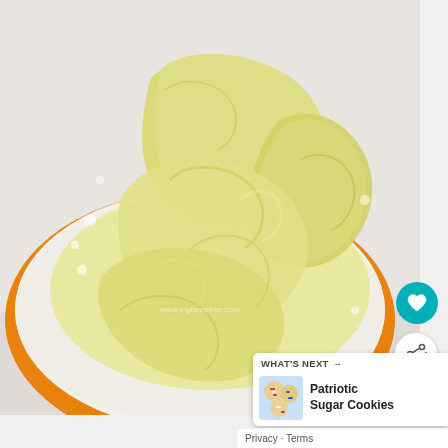[Figure (photo): Close-up photo of creamed butter and sugar mixture in an orange mixing bowl, showing a fluffy pale yellow mixture with swirl marks from a mixer, set on a light grey surface.]
WHAT'S NEXT → Patriotic Sugar Cookies
Privacy · Terms